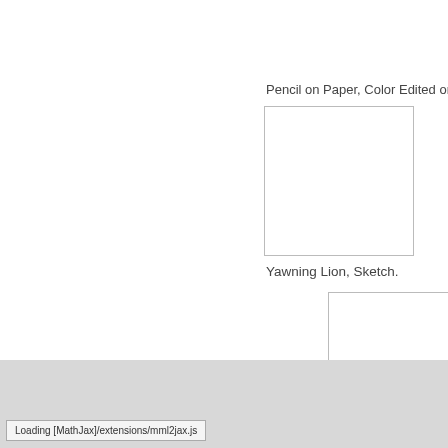Pencil on Paper, Color Edited on Ph
[Figure (illustration): Empty white rectangle with light gray border representing a placeholder image]
Yawning Lion, Sketch.
[Figure (illustration): Empty white rectangle with light gray border representing a placeholder image]
The artist, like the idiot or clown, sits on the edge of the world, and a
www.digication.com  Terms of Use  |  Privacy
Platform provided by Digication, Inc. Copyright ©
Loading [MathJax]/extensions/mml2jax.js